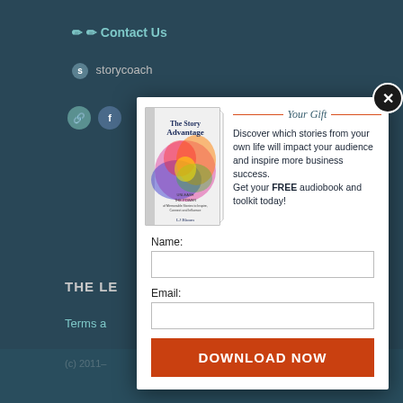Contact Us
storycoach
THE LE...
Terms a...
(c) 2011–...   ift Design
[Figure (other): Modal popup with book cover for 'The Story Advantage' by LJ Bloom, a Your Gift signup form with Name and Email fields and a DOWNLOAD NOW button]
Your Gift
Discover which stories from your own life will impact your audience and inspire more business success. Get your FREE audiobook and toolkit today!
Name:
Email:
DOWNLOAD NOW